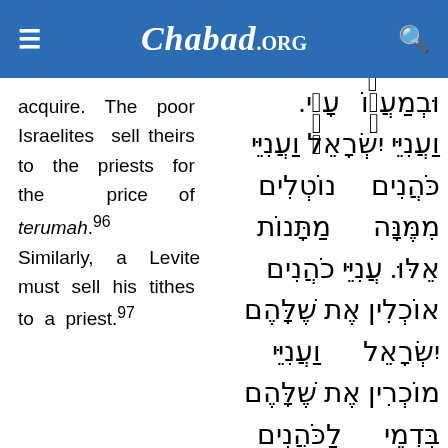Chabad.ORG
acquire. The poor Israelites sell theirs to the priests for the price of terumah.96 Similarly, a Levite must sell his tithes to a priest.97
Hebrew text (right column): וּבְמַעֲשׂוֹ עָנִי. וַעֲנִיֵּי יִשְׂרָאֵל וַעֲנִיֵּי כֹּהֲנִים נוֹטְלִים מִמֶּנָּה מַתָּנוֹת אֵלּוּ. עֲנִיֵּי כֹהֲנִים אוֹכְלִין אֶת שֶׁלָּהֶם וַעֲנִיֵּי יִשְׂרָאֵל מוֹכְרִין אֶת שֶׁלָּהֶם לַכֹּהֲנִים בִּדְמֵי תְרוּמָה וְהַדָּמִים